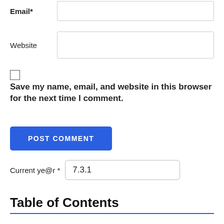Email*
Website
Save my name, email, and website in this browser for the next time I comment.
POST COMMENT
Current ye@r * 7.3.1
Table of Contents